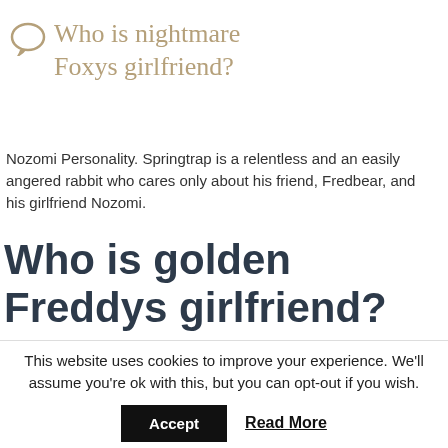Who is nightmare Foxys girlfriend?
Nozomi Personality. Springtrap is a relentless and an easily angered rabbit who cares only about his friend, Fredbear, and his girlfriend Nozomi.
Who is golden Freddys girlfriend?
Classic Toy Chica is one of the protagonists (alongside Classic Toy
This website uses cookies to improve your experience. We'll assume you're ok with this, but you can opt-out if you wish.